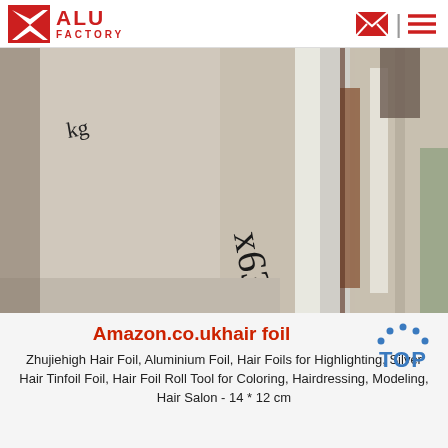ALU FACTORY
[Figure (photo): Close-up photo of aluminum foil rolls stacked together, with handwritten markings on a wall in the background. The foil appears shiny and metallic.]
Amazon.co.ukhair foil
[Figure (logo): TOP badge logo with blue dots arranged in a semi-circle above the word TOP in blue.]
Zhujiehigh Hair Foil, Aluminium Foil, Hair Foils for Highlighting, Silver Hair Tinfoil Foil, Hair Foil Roll Tool for Coloring, Hairdressing, Modeling, Hair Salon - 14 * 12 cm